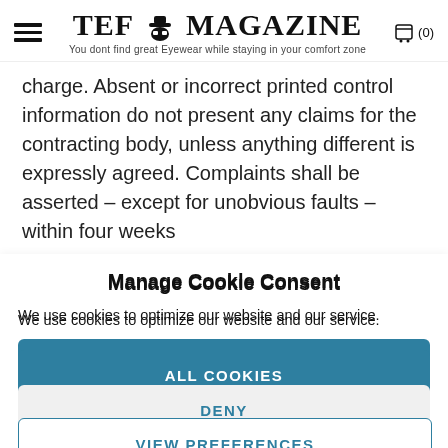TEF MAGAZINE — You dont find great Eyewear while staying in your comfort zone
charge. Absent or incorrect printed control information do not present any claims for the contracting body, unless anything different is expressly agreed. Complaints shall be asserted – except for unobvious faults – within four weeks
Manage Cookie Consent
We use cookies to optimize our website and our service.
ALL COOKIES
DENY
VIEW PREFERENCES